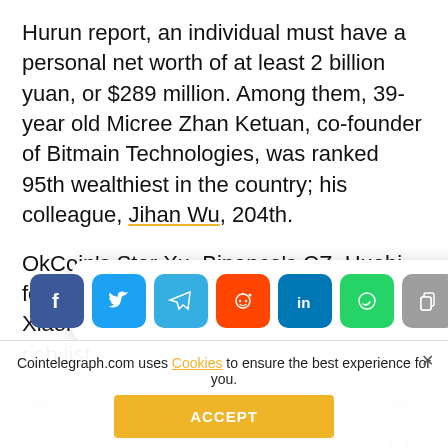Hurun report, an individual must have a personal net worth of at least 2 billion yuan, or $289 million. Among them, 39-year old Micree Zhan Ketuan, co-founder of Bitmain Technologies, was ranked 95th wealthiest in the country; his colleague, Jihan Wu, 204th.
OkCoin's Star Xu, Binance's CZ, Huobi founder Li Lin and Bitcoin whale Li Xiaolai all made an appearance on the rich list.
[Figure (screenshot): Social media share buttons: Facebook, Twitter, Telegram, Reddit, LinkedIn, WhatsApp, Copy, Scroll-to-top]
| Rank | Name | Company / Position | Wealth |
| --- | --- | --- | --- |
|  | Micree Zhan Ketuan | Bitmain | $4.3... |
|  | Wu Jihan | Bitmain | $2.4B |
Cointelegraph.com uses Cookies to ensure the best experience for you.